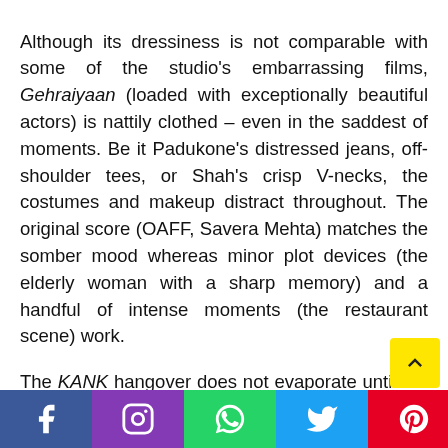Although its dressiness is not comparable with some of the studio's embarrassing films, Gehraiyaan (loaded with exceptionally beautiful actors) is nattily clothed – even in the saddest of moments. Be it Padukone's distressed jeans, off-shoulder tees, or Shah's crisp V-necks, the costumes and makeup distract throughout. The original score (OAFF, Savera Mehta) matches the somber mood whereas minor plot devices (the elderly woman with a sharp memory) and a handful of intense moments (the restaurant scene) work.
The KANK hangover does not evaporate until the finale in Gehraiyaan. After the pre-climactic the film takes a break of two years to be reunited of one of the leads. The
[Figure (other): Social media share bar at the bottom with icons for Facebook, Instagram, WhatsApp, Twitter, Pinterest, and a yellow scroll-up button]